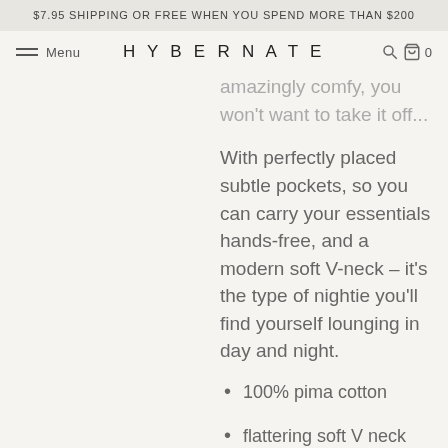$7.95 SHIPPING OR FREE WHEN YOU SPEND MORE THAN $200
Menu  HYBERNATE  0
amazingly comfy, you won't want to take it off...
With perfectly placed subtle pockets, so you can carry your essentials hands-free, and a modern soft V-neck – it's the type of nightie you'll find yourself lounging in day and night.
100% pima cotton
flattering soft V neck
seamless, relaxed